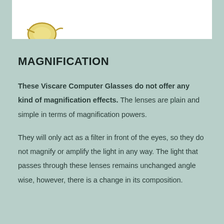[Figure (illustration): Partial view of computer glasses illustration at top of page, showing yellow-tinted lens frames against a white background]
MAGNIFICATION
These Viscare Computer Glasses do not offer any kind of magnification effects. The lenses are plain and simple in terms of magnification powers.
They will only act as a filter in front of the eyes, so they do not magnify or amplify the light in any way. The light that passes through these lenses remains unchanged angle wise, however, there is a change in its composition.